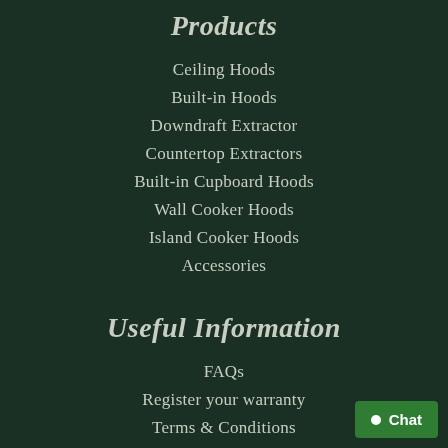Products
Ceiling Hoods
Built-in Hoods
Downdraft Extractor
Countertop Extractors
Built-in Cupboard Hoods
Wall Cooker Hoods
Island Cooker Hoods
Accessories
Useful Information
FAQs
Register your warranty
Terms & Conditions
Privacy Policy